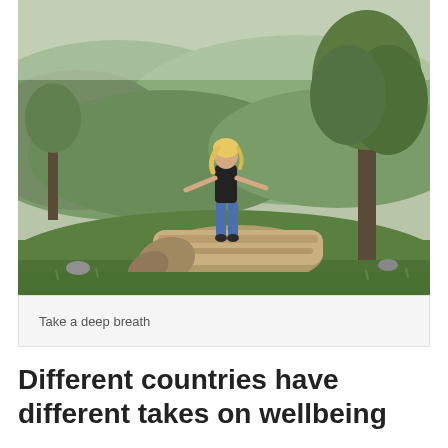[Figure (photo): A woman with blonde hair wearing a black top and blue jeans stands with arms outstretched on top of a large fallen log in a green countryside landscape. Rolling green hills and trees with spring foliage are visible in the background under an overcast sky.]
Take a deep breath
Different countries have different takes on wellbeing